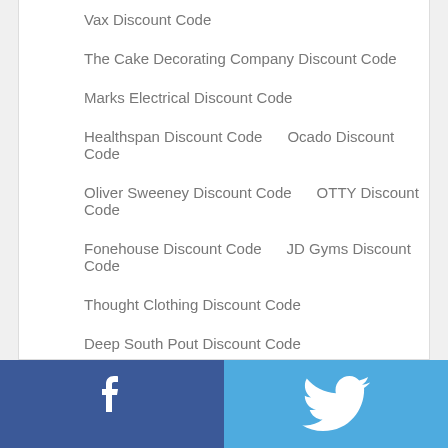Vax Discount Code
The Cake Decorating Company Discount Code
Marks Electrical Discount Code
Healthspan Discount Code    Ocado Discount Code
Oliver Sweeney Discount Code    OTTY Discount Code
Fonehouse Discount Code    JD Gyms Discount Code
Thought Clothing Discount Code
Deep South Pout Discount Code
Oxendales.ie Discount Code
[Figure (infographic): Social sharing bar with Facebook (dark blue) on the left and Twitter (light blue) on the right, each showing their respective white icons]